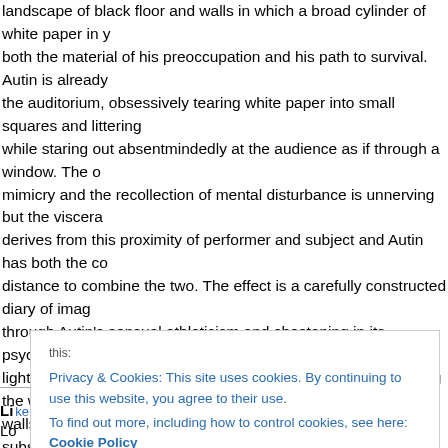landscape of black floor and walls in which a broad cylinder of white paper in which a broad cylinder of white paper in both the material of his preoccupation and his path to survival. Autin is already the auditorium, obsessively tearing white paper into small squares and littering while staring out absentmindedly at the audience as if through a window. The mimicry and the recollection of mental disturbance is unnerving but the viscera derives from this proximity of performer and subject and Autin has both the co distance to combine the two. The effect is a carefully constructed diary of imag through Autin's sensual athleticism and chastening in its psychological fragility lighting enhances the idea of archetypical opposites, contrasting the white pap walls to create opacity and translucence, shadow and substance.
The program defines Square One as a work in progress, but the performance with experience, candour and Autin's perverse delight in performing it.
Like this:
Lo
Privacy & Cookies: This site uses cookies. By continuing to use this website, you agree to their use. To find out more, including how to control cookies, see here: Cookie Policy
Close and accept